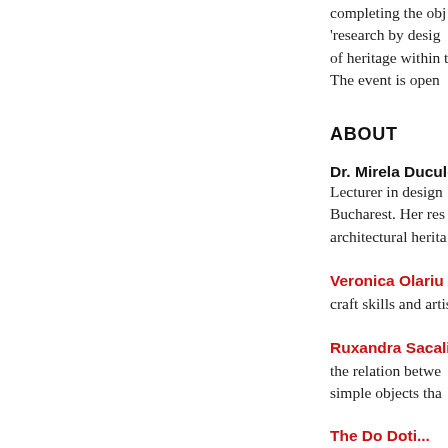completing the obj 'research by desig of heritage within t The event is open
ABOUT
Dr. Mirela Ducules Lecturer in design Bucharest. Her res architectural herita
Veronica Olariu is craft skills and artis
Ruxandra Sacalis i the relation betwe simple objects tha
The Do Doti...